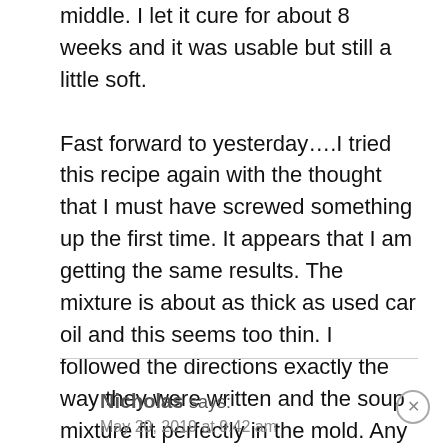middle. I let it cure for about 8 weeks and it was usable but still a little soft.

Fast forward to yesterday....I tried this recipe again with the thought that I must have screwed something up the first time. It appears that I am getting the same results. The mixture is about as thick as used car oil and this seems too thin. I followed the directions exactly the way they were written and the soup mixture fit perfectly in the mold. Any ideas on what my issue could be?
Nicholas says:
May 20, 2019 at 9:42 am